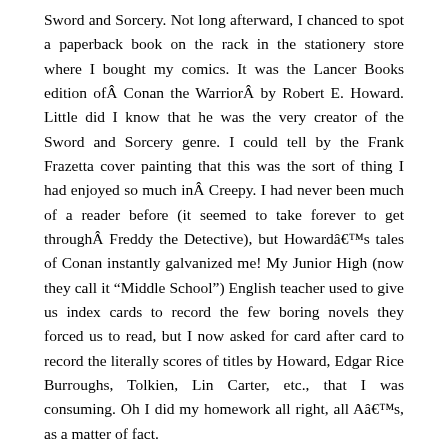Sword and Sorcery. Not long afterward, I chanced to spot a paperback book on the rack in the stationery store where I bought my comics. It was the Lancer Books edition ofÂ Conan the WarriorÂ by Robert E. Howard. Little did I know that he was the very creator of the Sword and Sorcery genre. I could tell by the Frank Frazetta cover painting that this was the sort of thing I had enjoyed so much inÂ Creepy. I had never been much of a reader before (it seemed to take forever to get throughÂ Freddy the Detective), but Howardâ€™s tales of Conan instantly galvanized me! My Junior High (now they call it “Middle School”) English teacher used to give us index cards to record the few boring novels they forced us to read, but I now asked for card after card to record the literally scores of titles by Howard, Edgar Rice Burroughs, Tolkien, Lin Carter, etc., that I was consuming. Oh I did my homework all right, all Aâ€™s, as a matter of fact.